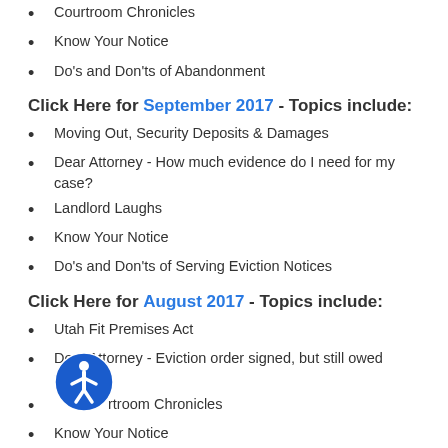Courtroom Chronicles
Know Your Notice
Do's and Don'ts of Abandonment
Click Here for September 2017 - Topics include:
Moving Out, Security Deposits & Damages
Dear Attorney - How much evidence do I need for my case?
Landlord Laughs
Know Your Notice
Do's and Don'ts of Serving Eviction Notices
Click Here for August 2017 - Topics include:
Utah Fit Premises Act
Dear Attorney - Eviction order signed, but still owed money?
Courtroom Chronicles
Know Your Notice